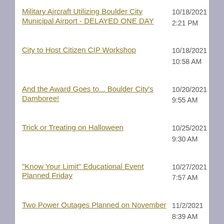Military Aircraft Utilizing Boulder City Municipal Airport - DELAYED ONE DAY	10/18/2021 2:21 PM	N/A
City to Host Citizen CIP Workshop	10/18/2021 10:58 AM	N/A
And the Award Goes to... Boulder City's Damboree!	10/20/2021 9:55 AM	N/A
Trick or Treating on Halloween	10/25/2021 9:30 AM	N/A
"Know Your Limit" Educational Event Planned Friday	10/27/2021 7:57 AM	N/A
Two Power Outages Planned on November	11/2/2021 8:39 AM	N/A